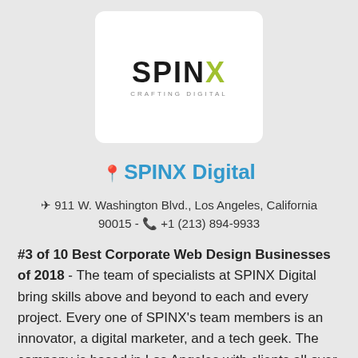[Figure (logo): SPINX Digital logo with text SPINX in bold dark letters, X in yellow-green, and tagline CRAFTING DIGITAL below in gray spaced letters, on white card background]
SPINX Digital
911 W. Washington Blvd., Los Angeles, California 90015 - +1 (213) 894-9933
#3 of 10 Best Corporate Web Design Businesses of 2018 - The team of specialists at SPINX Digital bring skills above and beyond to each and every project. Every one of SPINX's team members is an innovator, a digital marketer, and a tech geek. The company is based in Los Angeles with clients all over the world in a number of different industries. Other services SPINX Digital can handle include mobile application development, digital strategy, user experience, and social media marketing.